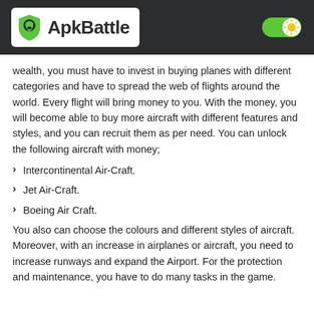ApkBattle
wealth, you must have to invest in buying planes with different categories and have to spread the web of flights around the world. Every flight will bring money to you. With the money, you will become able to buy more aircraft with different features and styles, and you can recruit them as per need. You can unlock the following aircraft with money;
Intercontinental Air-Craft.
Jet Air-Craft.
Boeing Air Craft.
You also can choose the colours and different styles of aircraft. Moreover, with an increase in airplanes or aircraft, you need to increase runways and expand the Airport. For the protection and maintenance, you have to do many tasks in the game.